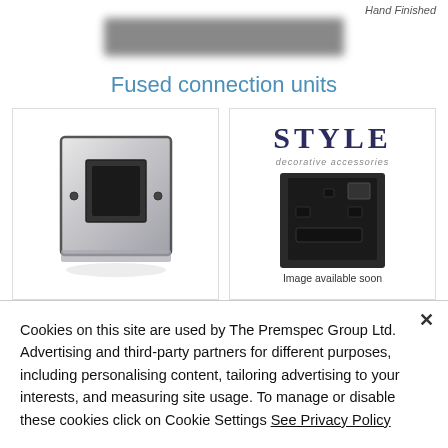[Figure (photo): Top portion of a webpage showing a blurred product image strip with 'Hand Finished' text in the top right corner]
Fused connection units
[Figure (photo): Two product images side by side: left shows a metallic fused connection unit switch plate in silver/chrome finish; right shows STYLE decorative accessories brand logo with a dark/black socket outlet and text 'Image available soon']
Cookies on this site are used by The Premspec Group Ltd. Advertising and third-party partners for different purposes, including personalising content, tailoring advertising to your interests, and measuring site usage. To manage or disable these cookies click on Cookie Settings See Privacy Policy